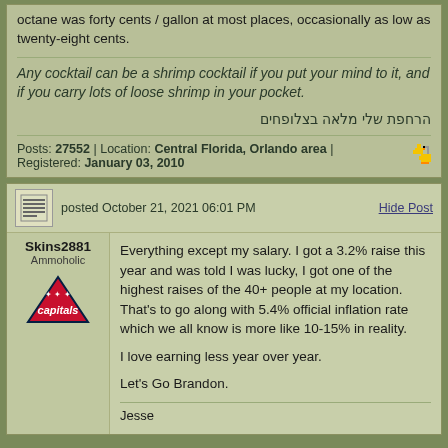octane was forty cents / gallon at most places, occasionally as low as twenty-eight cents.
Any cocktail can be a shrimp cocktail if you put your mind to it, and if you carry lots of loose shrimp in your pocket.
הרחפת שלי מלאה בצלופחים
Posts: 27552 | Location: Central Florida, Orlando area | Registered: January 03, 2010
Skins2881
Ammoholic
posted October 21, 2021 06:01 PM
Hide Post
Everything except my salary. I got a 3.2% raise this year and was told I was lucky, I got one of the highest raises of the 40+ people at my location. That's to go along with 5.4% official inflation rate which we all know is more like 10-15% in reality.

I love earning less year over year.

Let's Go Brandon.
Jesse